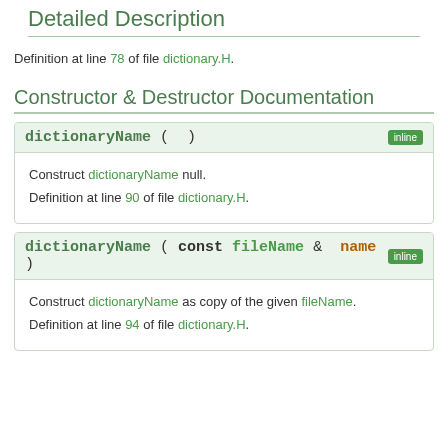Detailed Description
Definition at line 78 of file dictionary.H.
Constructor & Destructor Documentation
dictionaryName ( )  inline
Construct dictionaryName null.
Definition at line 90 of file dictionary.H.
dictionaryName ( const fileName &  name )  inline
Construct dictionaryName as copy of the given fileName.
Definition at line 94 of file dictionary.H.